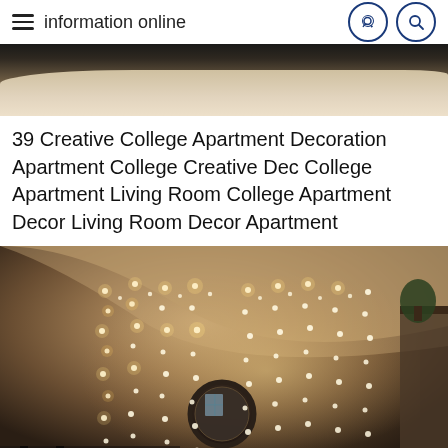information online
[Figure (photo): Top portion of a room interior showing a fluffy beige/cream carpet and dark flooring, partially cropped]
39 Creative College Apartment Decoration Apartment College Creative Dec College Apartment Living Room College Apartment Decor Living Room Decor Apartment
[Figure (photo): Room interior with fairy/string lights draped on a wall above a round mirror, creating a warm glowing effect in a dimly lit apartment room]